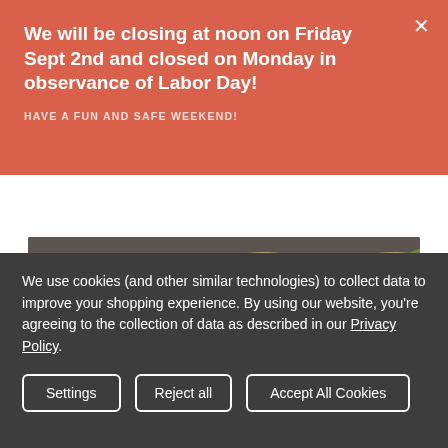We will be closing at noon on Friday Sept 2nd and closed on Monday in observance of Labor Day!
HAVE A FUN AND SAFE WEEKEND!
[Figure (photo): Close-up photo of flowers (lily-like petals in tan/cream colors) laid on a dark surface, with what appears to be a paint can lid visible]
We use cookies (and other similar technologies) to collect data to improve your shopping experience. By using our website, you're agreeing to the collection of data as described in our Privacy Policy.
Settings
Reject all
Accept All Cookies